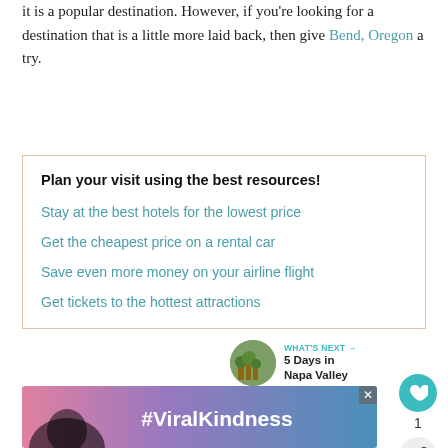it is a popular destination. However, if you're looking for a destination that is a little more laid back, then give Bend, Oregon a try.
Plan your visit using the best resources!
Stay at the best hotels for the lowest price
Get the cheapest price on a rental car
Save even more money on your airline flight
Get tickets to the hottest attractions
[Figure (infographic): Heart/like button (teal circle with heart icon) showing count of 1, and share button below it]
[Figure (infographic): What's Next section with thumbnail image and text: 5 Days in Napa Valley]
[Figure (infographic): Advertisement banner with #ViralKindness hashtag and heart silhouette on colorful background]